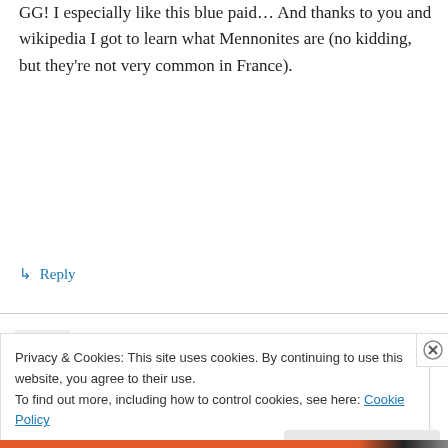GG! I especially like this blue paid… And thanks to you and wikipedia I got to learn what Mennonites are (no kidding, but they're not very common in France).
↳ Reply
Ruth on April 25, 2011 at 3:50 am
I've just used my Singer buttonholer for the first time – it cost me £6 on Ebay but is possibly one
Privacy & Cookies: This site uses cookies. By continuing to use this website, you agree to their use.
To find out more, including how to control cookies, see here: Cookie Policy
Close and accept